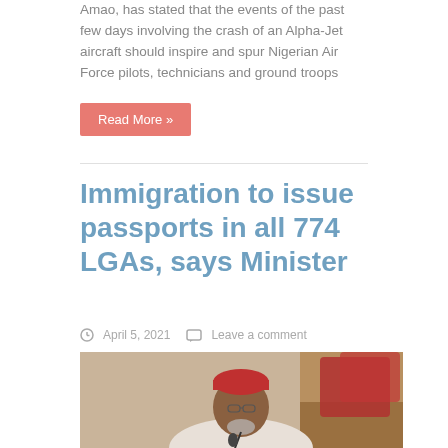Amao, has stated that the events of the past few days involving the crash of an Alpha-Jet aircraft should inspire and spur Nigerian Air Force pilots, technicians and ground troops
Read More »
Immigration to issue passports in all 774 LGAs, says Minister
April 5, 2021   Leave a comment
[Figure (photo): A man wearing a red traditional cap, glasses, and a white top, speaking at a podium with a microphone in front of him. Red chairs visible in the background.]